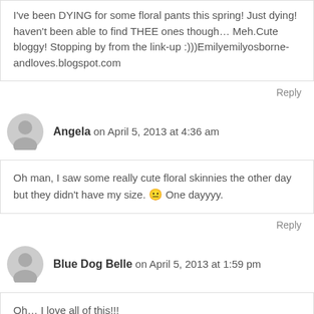I've been DYING for some floral pants this spring! Just dying! haven't been able to find THEE ones though… Meh.Cute bloggy! Stopping by from the link-up :)))Emilyemilyosborne-andloves.blogspot.com
Reply
Angela on April 5, 2013 at 4:36 am
Oh man, I saw some really cute floral skinnies the other day but they didn't have my size. 😐 One dayyyy.
Reply
Blue Dog Belle on April 5, 2013 at 1:59 pm
Oh… I love all of this!!!